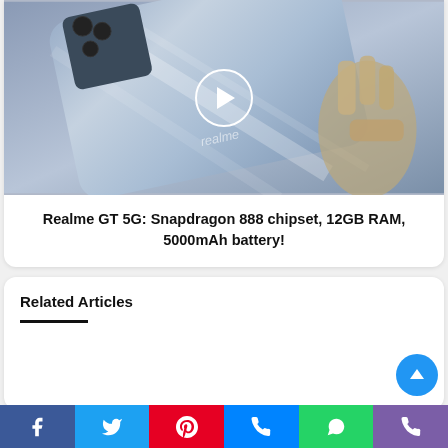[Figure (photo): Photo of a blue Realme GT 5G smartphone held by a robotic/mechanical hand, with a play button circle overlay on the image]
Realme GT 5G: Snapdragon 888 chipset, 12GB RAM, 5000mAh battery!
Related Articles